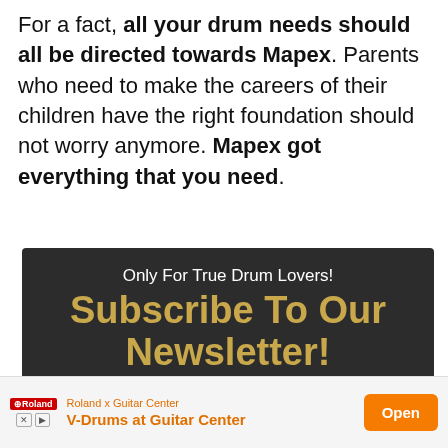For a fact, all your drum needs should all be directed towards Mapex. Parents who need to make the careers of their children have the right foundation should not worry anymore. Mapex got everything that you need.
[Figure (infographic): Dark newsletter signup box with text 'Only For True Drum Lovers!', large gold bold 'Subscribe To Our Newsletter!', and subtext 'Join other 10.000 drummers worldwide!']
Name *
[Figure (infographic): Advertisement banner: Roland x Guitar Center, V-Drums at Guitar Center, with Open button in orange]